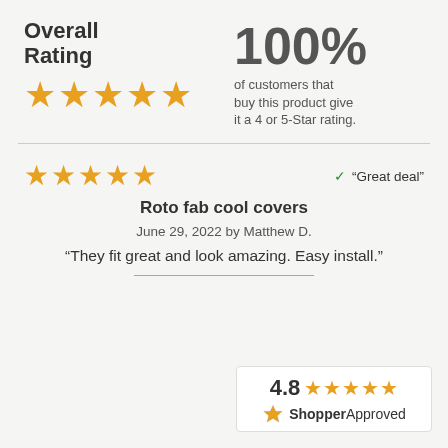Overall Rating
[Figure (other): Five orange stars representing overall rating]
100% of customers that buy this product give it a 4 or 5-Star rating.
[Figure (other): Five orange stars for individual review rating]
✓ "Great deal"
Roto fab cool covers
June 29, 2022 by Matthew D.
“They fit great and look amazing. Easy install.”
[Figure (logo): ShopperApproved badge showing 4.8 star rating with five orange stars]